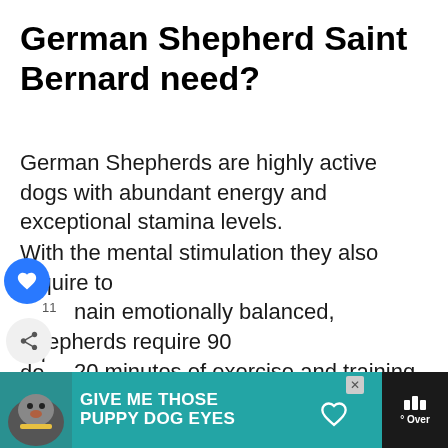German Shepherd Saint Bernard need?
German Shepherds are highly active dogs with abundant energy and exceptional stamina levels.
With the mental stimulation they also require to remain emotionally balanced, Shepherds require 90 to 120 minutes of exercise and training per day.
On the contrary, sources like Dogtime recommend moderate exercise for Saint Bernards.
[Figure (screenshot): Advertisement banner at bottom: teal/dark background with dog image, text 'GIVE ME THOSE PUPPY DOG EYES' in bold white, close button, and dark right panel with logo.]